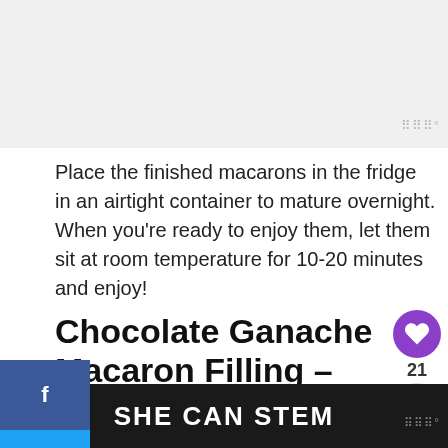[Figure (photo): Light gray placeholder image area at top of page]
Place the finished macarons in the fridge in an airtight container to mature overnight. When you're ready to enjoy them, let them sit at room temperature for 10-20 minutes and enjoy!
Chocolate Ganache Macaron Filling – Substitutions and Sw…
Like I mentioned above, this recipe is made u…
[Figure (screenshot): SHE CAN STEM advertisement banner at bottom]
[Figure (photo): Italian Macarons thumbnail for What's Next section]